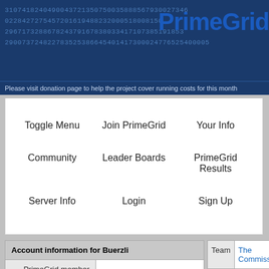3107418240490043721350750035888567930027346 0228427275457201619488232000518008150 296717328867824379167838033417107385191853 290073724822783525386645401417300024776525400005
PrimeGrid
Please visit donation page to help the project cover running costs for this month
Toggle Menu
Join PrimeGrid
Your Info
Community
Leader Boards
PrimeGrid Results
Server Info
Login
Sign Up
| Account information for Buerzli |  |
| --- | --- |
| PrimeGrid member since | 11 Aug 2007 |
| Country | Italy |
| Total credit | 5,831,025.93 |
| Recent average credit | 0.08 |
| Badges | 321 QuI ESP PPS PSP |
| Team |  |
| --- | --- |
| Team | The Commission |